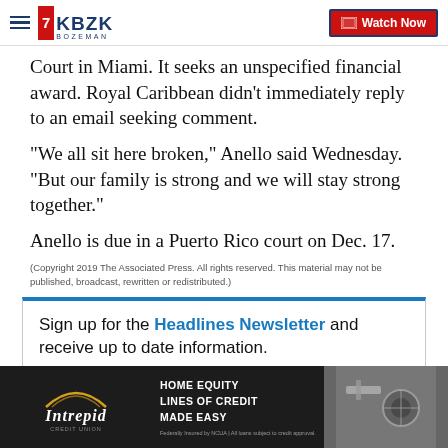KBZK BOZEMAN | Watch Now
Court in Miami. It seeks an unspecified financial award. Royal Caribbean didn't immediately reply to an email seeking comment.
"We all sit here broken," Anello said Wednesday. "But our family is strong and we will stay strong together."
Anello is due in a Puerto Rico court on Dec. 17.
(Copyright 2019 The Associated Press. All rights reserved. This material may not be published, broadcast, rewritten or redistributed.)
Sign up for the Headlines Newsletter and receive up to date information.
[Figure (infographic): Intrepid Credit Union ad banner: HOME EQUITY LINES OF CREDIT MADE EASY with logo and decorative image]